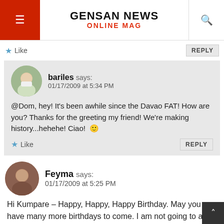GENSAN NEWS ONLINE MAG
Like | REPLY
bariles says: 01/17/2009 at 5:34 PM
@Dom, hey! It's been awhile since the Davao FAT! How are you? Thanks for the greeting my friend! We're making history...hehehe! Ciao! 🙂
Like | REPLY
Feyma says: 01/17/2009 at 5:25 PM
Hi Kumpare – Happy, Happy, Happy Birthday. May you have many more birthdays to come. I am not going to ask your age. Still young, Di Bah? 😉 😉